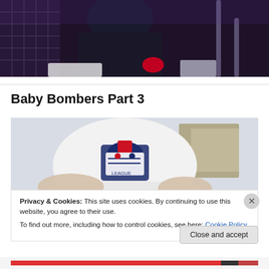[Figure (photo): A person wearing a dark jacket at what appears to be a sports venue or arena, with metal railings and purple/blue lighting in the background.]
Baby Bombers Part 3
[Figure (photo): Close-up of a baseball cap with a New York Yankees-style logo, held in someone's hands, with cardboard boxes in the background.]
Privacy & Cookies: This site uses cookies. By continuing to use this website, you agree to their use.
To find out more, including how to control cookies, see here: Cookie Policy